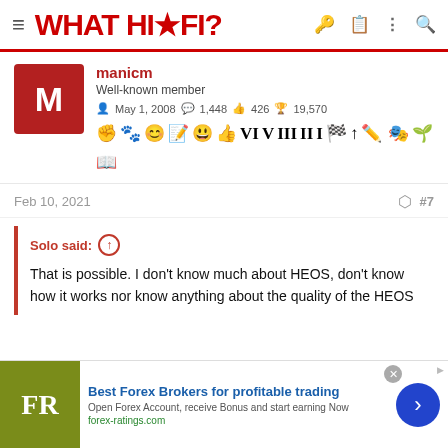WHAT HI-FI?
manicm
Well-known member
May 1, 2008  1,448  426  19,570
Feb 10, 2021  #7
Solo said:
That is possible. I don't know much about HEOS, don't know how it works nor know anything about the quality of the HEOS
[Figure (screenshot): Advertisement for Best Forex Brokers — FR logo in olive green, blue headline text, navigation arrow button]